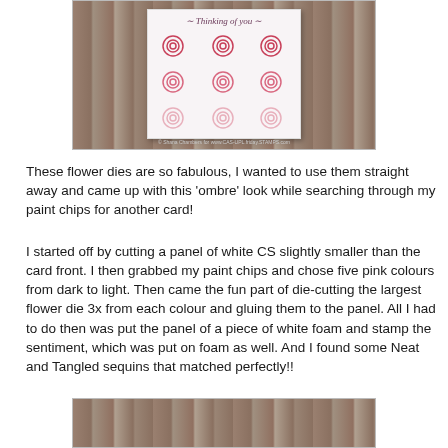[Figure (photo): A handmade greeting card with 'Thinking of you' sentiment and spiral flower die-cuts in ombre pink shades arranged in a 3x3 grid, placed on a wooden surface background.]
These flower dies are so fabulous, I wanted to use them straight away and came up with this 'ombre' look while searching through my paint chips for another card!
I started off by cutting a panel of white CS slightly smaller than the card front. I then grabbed my paint chips and chose five pink colours from dark to light. Then came the fun part of die-cutting the largest flower die 3x from each colour and gluing them to the panel. All I had to do then was put the panel of a piece of white foam and stamp the sentiment, which was put on foam as well. And I found some Neat and Tangled sequins that matched perfectly!!
[Figure (photo): Bottom portion of another handmade card on a wooden surface, partially visible.]